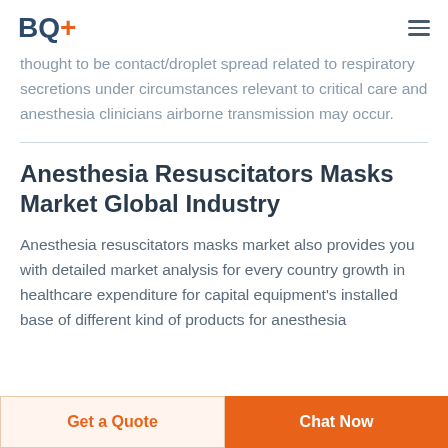BQ+
thought to be contact/droplet spread related to respiratory secretions under circumstances relevant to critical care and anesthesia clinicians airborne transmission may occur.
Anesthesia Resuscitators Masks Market Global Industry
Anesthesia resuscitators masks market also provides you with detailed market analysis for every country growth in healthcare expenditure for capital equipment's installed base of different kind of products for anesthesia
Get a Quote   Chat Now